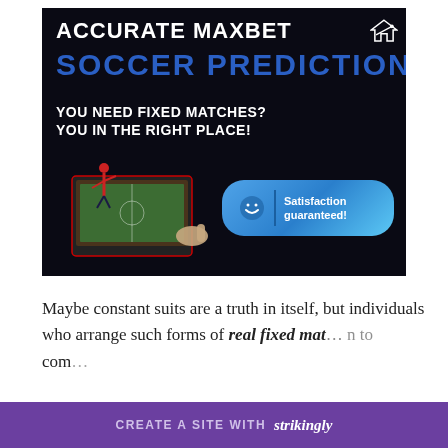[Figure (illustration): Dark-background advertising banner for 'Accurate Maxbet Soccer Predictions' showing bold white and blue text, a soccer player emerging from a tablet screen, a satisfaction guaranteed badge, and a house/graph logo icon.]
Maybe constant suits are a truth in itself, but individuals who arrange such forms of real fixed matches are in a position to com
CREATE A SITE WITH strikingly